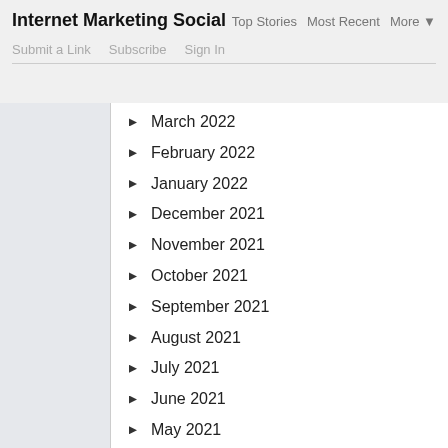Internet Marketing Social   Top Stories   Most Recent   More ▼   Submit a Link   Subscribe   Sign In
March 2022
February 2022
January 2022
December 2021
November 2021
October 2021
September 2021
August 2021
July 2021
June 2021
May 2021
April 2021
March 2021
February 2021
January 2021
December 2020